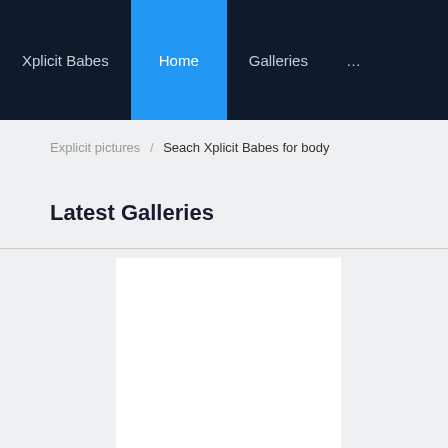Xplicit Babes  Home  Galleries  ...
Explicit pictures / Seach Xplicit Babes for body
Latest Galleries
[Figure (photo): White blank image placeholder for a gallery photo]